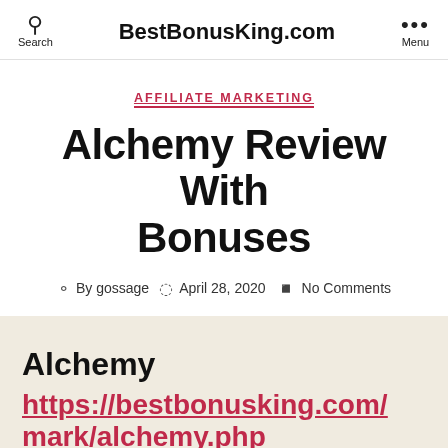BestBonusKing.com
AFFILIATE MARKETING
Alchemy Review With Bonuses
By gossage   April 28, 2020   No Comments
Alchemy
https://bestbonusking.com/mark/alchemy.php